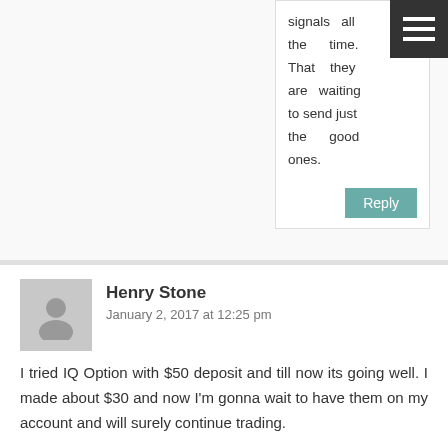signals all the time. That they are waiting to send just the good ones.
Reply
Henry Stone
January 2, 2017 at 12:25 pm
I tried IQ Option with $50 deposit and till now its going well. I made about $30 and now I'm gonna wait to have them on my account and will surely continue trading.

Good luck in the future!